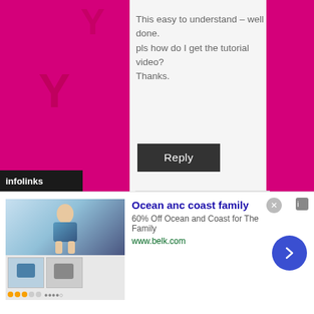This easy to understand – well done.
pls how do I get the tutorial video?
Thanks.
Reply
Valisimo Fashions
March 14, 2020 at 5:16 am
Click on the
[Figure (screenshot): Infolinks ad network label bar at bottom left]
[Figure (infographic): Advertisement banner for Ocean anc coast family - 60% Off Ocean and Coast for The Family at www.belk.com, with swimwear product image thumbnails]